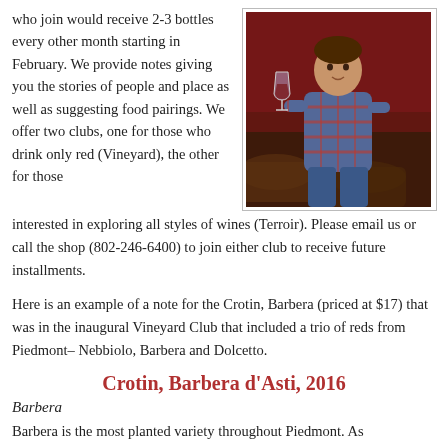who join would receive 2-3 bottles every other month starting in February. We provide notes giving you the stories of people and place as well as suggesting food pairings. We offer two clubs, one for those who drink only red (Vineyard), the other for those interested in exploring all styles of wines (Terroir). Please email us or call the shop (802-246-6400) to join either club to receive future installments.
[Figure (photo): A man in a plaid shirt holding a wine glass, standing in front of wine barrels against a dark red background.]
Here is an example of a note for the Crotin, Barbera (priced at $17) that was in the inaugural Vineyard Club that included a trio of reds from Piedmont– Nebbiolo, Barbera and Dolcetto.
Crotin, Barbera d'Asti, 2016
Barbera
Barbera is the most planted variety throughout Piedmont. As